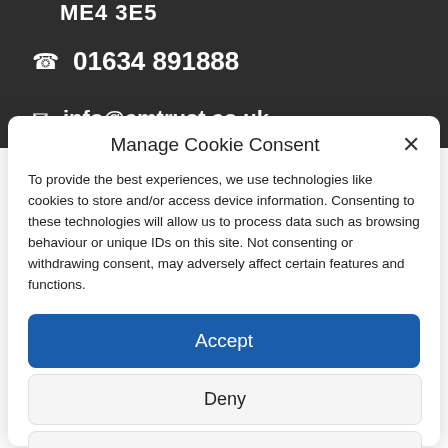ME4 3ES
01634 891888
info@cmtrust.co.uk
Manage Cookie Consent
To provide the best experiences, we use technologies like cookies to store and/or access device information. Consenting to these technologies will allow us to process data such as browsing behaviour or unique IDs on this site. Not consenting or withdrawing consent, may adversely affect certain features and functions.
Accept
Deny
View preferences
Cookie Policy  Privacy Policy